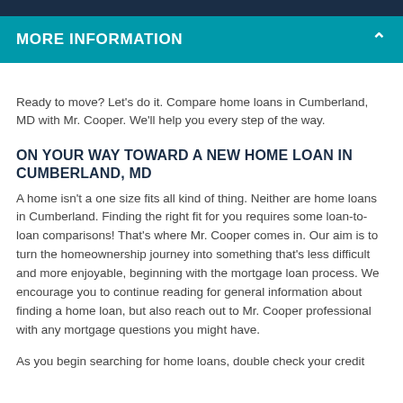MORE INFORMATION
Ready to move? Let's do it. Compare home loans in Cumberland, MD with Mr. Cooper. We'll help you every step of the way.
ON YOUR WAY TOWARD A NEW HOME LOAN IN CUMBERLAND, MD
A home isn't a one size fits all kind of thing. Neither are home loans in Cumberland. Finding the right fit for you requires some loan-to-loan comparisons! That's where Mr. Cooper comes in. Our aim is to turn the homeownership journey into something that's less difficult and more enjoyable, beginning with the mortgage loan process. We encourage you to continue reading for general information about finding a home loan, but also reach out to Mr. Cooper professional with any mortgage questions you might have.
As you begin searching for home loans, double check your credit